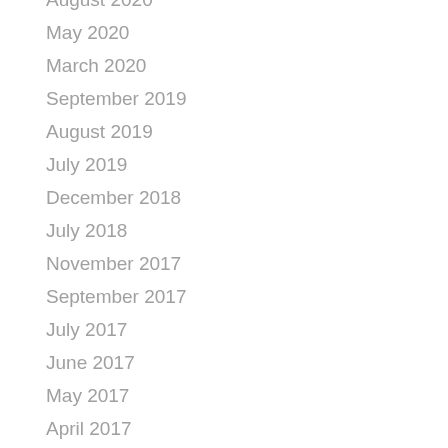August 2020
May 2020
March 2020
September 2019
August 2019
July 2019
December 2018
July 2018
November 2017
September 2017
July 2017
June 2017
May 2017
April 2017
March 2017